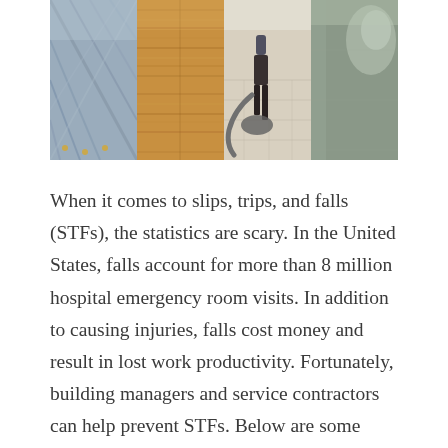[Figure (photo): A strip of four flooring photos: (1) marble/stone tile with chevron/diagonal pattern and blue-grey tones, (2) warm honey-toned hardwood floor, (3) person operating floor cleaning/polishing machine on light tile floor, (4) glossy dark green/grey polished concrete or stone floor.]
When it comes to slips, trips, and falls (STFs), the statistics are scary. In the United States, falls account for more than 8 million hospital emergency room visits. In addition to causing injuries, falls cost money and result in lost work productivity. Fortunately, building managers and service contractors can help prevent STFs. Below are some questions and answers to help provide